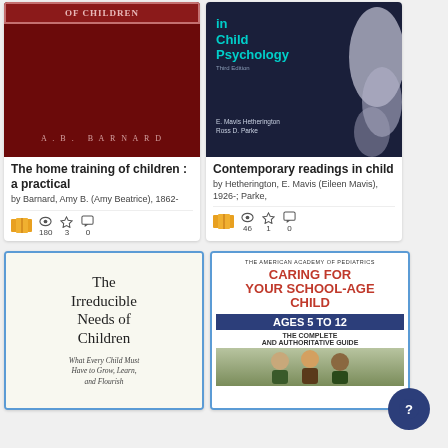[Figure (illustration): Book cover: The home training of children by A.B. Barnard, dark red cover]
The home training of children : a practical
by Barnard, Amy B. (Amy Beatrice), 1862-
180 views, 3 favorites, 0 comments
[Figure (illustration): Book cover: Contemporary readings in child psychology, Third Edition by E. Mavis Hetherington, Ross D. Parke, dark blue cover]
Contemporary readings in child
by Hetherington, E. Mavis (Eileen Mavis), 1926-; Parke,
46 views, 1 favorite, 0 comments
[Figure (illustration): Book cover: The Irreducible Needs of Children, white cover with serif text]
[Figure (illustration): Book cover: Caring for Your School-Age Child Ages 5 to 12, The American Academy of Pediatrics, The Complete and Authoritative Guide]